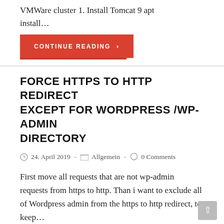VMWare cluster 1. Install Tomcat 9 apt install…
CONTINUE READING ›
FORCE HTTPS TO HTTP REDIRECT EXCEPT FOR WORDPRESS /WP-ADMIN DIRECTORY
24. April 2019 - Allgemein - 0 Comments
First move all requests that are not wp-admin requests from https to http. Than i want to exclude all of Wordpress admin from the https to http redirect, to keep…
CONTINUE READING ›